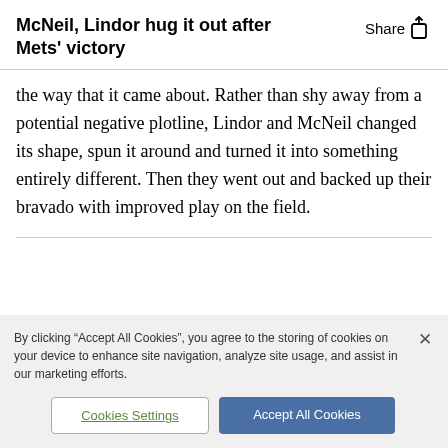McNeil, Lindor hug it out after Mets' victory
the way that it came about. Rather than shy away from a potential negative plotline, Lindor and McNeil changed its shape, spun it around and turned it into something entirely different. Then they went out and backed up their bravado with improved play on the field.
By clicking “Accept All Cookies”, you agree to the storing of cookies on your device to enhance site navigation, analyze site usage, and assist in our marketing efforts.